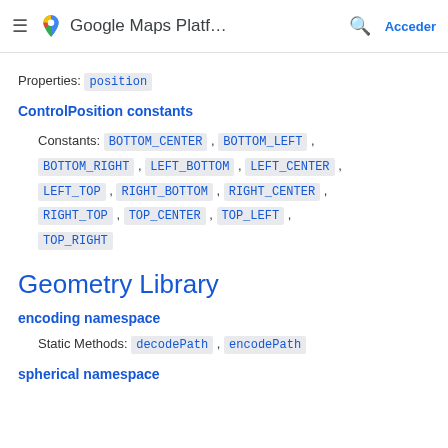Google Maps Platf... Acceder
Properties: position
ControlPosition constants
Constants: BOTTOM_CENTER, BOTTOM_LEFT, BOTTOM_RIGHT, LEFT_BOTTOM, LEFT_CENTER, LEFT_TOP, RIGHT_BOTTOM, RIGHT_CENTER, RIGHT_TOP, TOP_CENTER, TOP_LEFT, TOP_RIGHT
Geometry Library
encoding namespace
Static Methods: decodePath, encodePath
spherical namespace